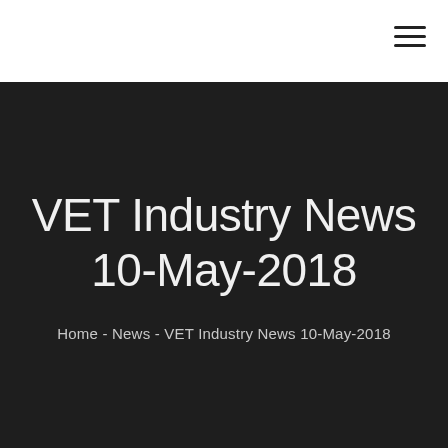VET Industry News 10-May-2018
Home - News - VET Industry News 10-May-2018